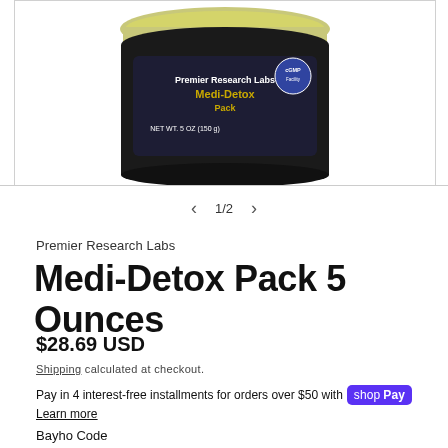[Figure (photo): Product photo of a black jar with gold/yellow lid showing text: NET WT. 5 OZ (150 g) and cGMP Facility badge]
1/2
Premier Research Labs
Medi-Detox Pack 5 Ounces
$28.69 USD
Shipping calculated at checkout.
Pay in 4 interest-free installments for orders over $50 with shop Pay
Learn more
Bayho Code